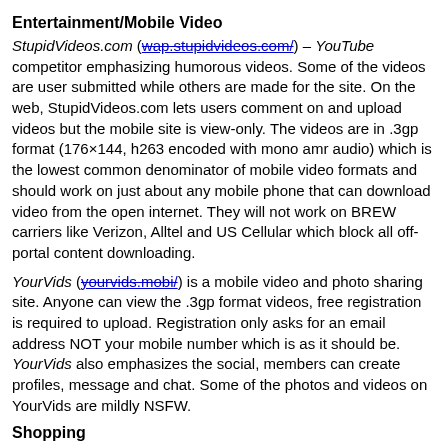Entertainment/Mobile Video
StupidVideos.com (wap.stupidvideos.com/) – YouTube competitor emphasizing humorous videos. Some of the videos are user submitted while others are made for the site. On the web, StupidVideos.com lets users comment on and upload videos but the mobile site is view-only. The videos are in .3gp format (176×144, h263 encoded with mono amr audio) which is the lowest common denominator of mobile video formats and should work on just about any mobile phone that can download video from the open internet. They will not work on BREW carriers like Verizon, Alltel and US Cellular which block all off-portal content downloading.
YourVids (yourvids.mobi/) is a mobile video and photo sharing site. Anyone can view the .3gp format videos, free registration is required to upload. Registration only asks for an email address NOT your mobile number which is as it should be. YourVids also emphasizes the social, members can create profiles, message and chat. Some of the photos and videos on YourVids are mildly NSFW.
Shopping
oFFrz (offrz.in/) is a shopping coupon site. Most of the deals are specific to India mainly in the Delhi region.
Weather